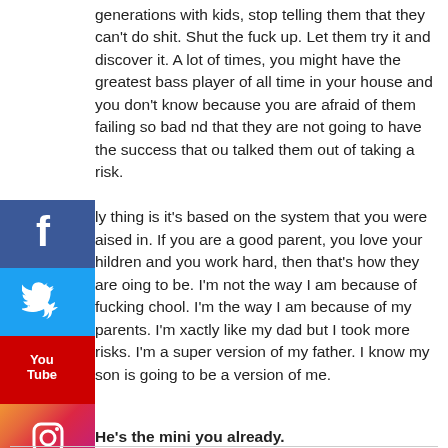generations with kids, stop telling them that they can't do shit. Shut the fuck up. Let them try it and discover it. A lot of times, you might have the greatest bass player of all time in your house and you don't know because you are afraid of them failing so bad and that they are not going to have the success that you talked them out of taking a risk.

My thing is it's based on the system that you were raised in. If you are a good parent, you love your children and you work hard, then that's how they are going to be. I'm not the way I am because of fucking school. I'm the way I am because of my parents. I'm exactly like my dad but I took more risks. I'm a super version of my father. I know my son is going to be a version of me.
He's the mini you already.
[Figure (other): Social media share icons: Facebook (blue), Twitter (light blue), YouTube (red), Instagram (gradient orange-pink-purple)]